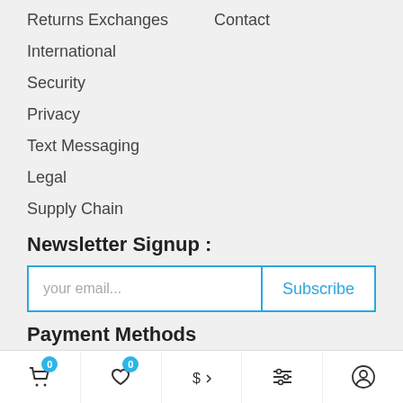Returns Exchanges
Contact
International
Security
Privacy
Text Messaging
Legal
Supply Chain
Newsletter Signup :
your email...
Subscribe
Payment Methods
[Figure (other): Payment method icons: Visa, PayPal, Mastercard, and others]
Cart 0 | Wishlist 0 | Currency $ | Filters | Account